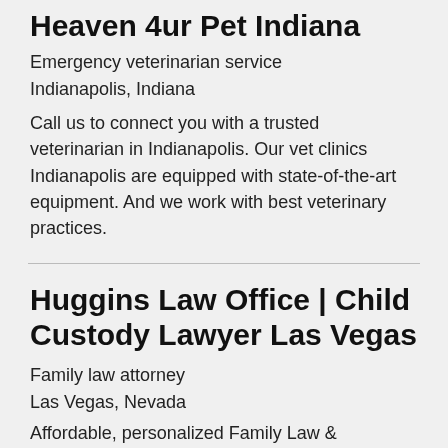Heaven 4ur Pet Indiana
Emergency veterinarian service
Indianapolis, Indiana
Call us to connect you with a trusted veterinarian in Indianapolis. Our vet clinics Indianapolis are equipped with state-of-the-art equipment. And we work with best veterinary practices.
Huggins Law Office | Child Custody Lawyer Las Vegas
Family law attorney
Las Vegas, Nevada
Affordable, personalized Family Law & Criminal Defense Services.